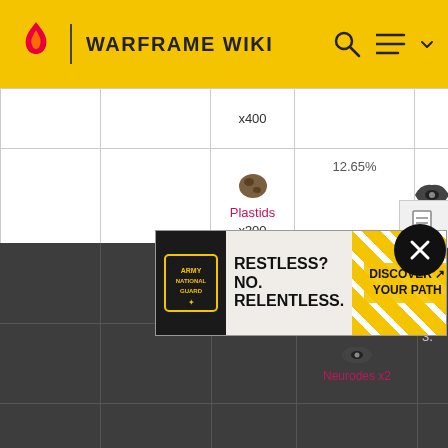WARFRAME WIKI
|  |  | Item | Chance | Item | Chance |
| --- | --- | --- | --- | --- | --- |
|  |  | x400 |  |  |  |
|  |  | Plastids x300 | 12.65% | Neurodes |  |
|  |  | Rubedo x400 | 12.65% | Orokin Cell | 12. |
|  |  |  |  | Argon Crystal | 3. |
|  |  |  |  | Gallium | 3. |
|  |  |  |  | Neurodes x2 | 3. |
[Figure (screenshot): Army National Guard advertisement: RESTLESS? NO. RELENTLESS. DISCOVER YOUR PATH]